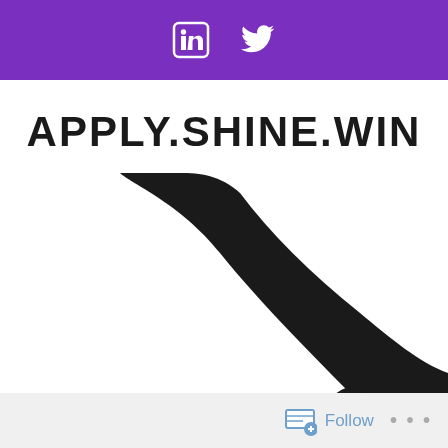LinkedIn Twitter social icons header bar
APPLY.SHINE.WIN
≡ MENU
[Figure (photo): Black silhouette of a hand reaching downward on a white background]
Follow ...